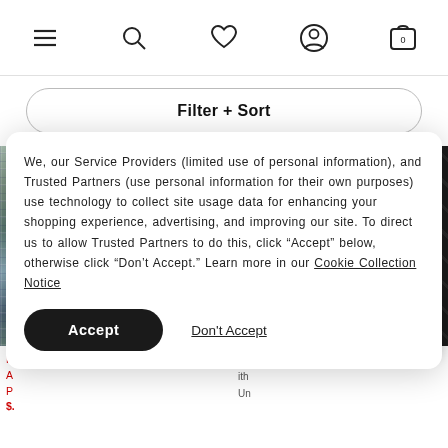Navigation header with menu, search, wishlist, account, and cart (0) icons
Filter + Sort
[Figure (photo): Left product: plaid patterned boxer shorts in green/blue/grey tones. Right product: black and white American Eagle Outfitters boxer briefs with eagle pattern and brand waistband.]
Boxer Brief
We, our Service Providers (limited use of personal information), and Trusted Partners (use personal information for their own purposes) use technology to collect site usage data for enhancing your shopping experience, advertising, and improving our site. To direct us to allow Trusted Partners to do this, click "Accept" below, otherwise click "Don't Accept." Learn more in our Cookie Collection Notice
Accept
Don't Accept